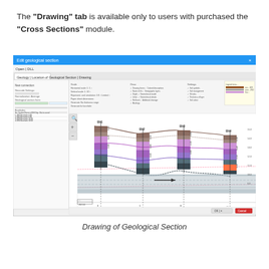The "Drawing" tab is available only to users with purchased the "Cross Sections" module.
[Figure (screenshot): Screenshot of a geological cross-section drawing application window showing borehole logs with colored soil layers (brown, purple, grey) connected by geological layer lines, with a cross-section profile drawn below showing subsurface geology. The interface has tabs including Drawing tab, settings panels on the left, and the main drawing canvas area.]
Drawing of Geological Section